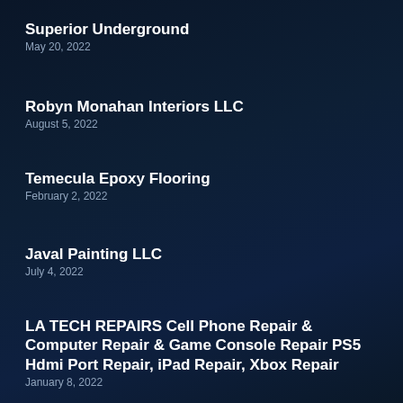Superior Underground
May 20, 2022
Robyn Monahan Interiors LLC
August 5, 2022
Temecula Epoxy Flooring
February 2, 2022
Javal Painting LLC
July 4, 2022
LA TECH REPAIRS Cell Phone Repair & Computer Repair & Game Console Repair PS5 Hdmi Port Repair, iPad Repair, Xbox Repair
January 8, 2022